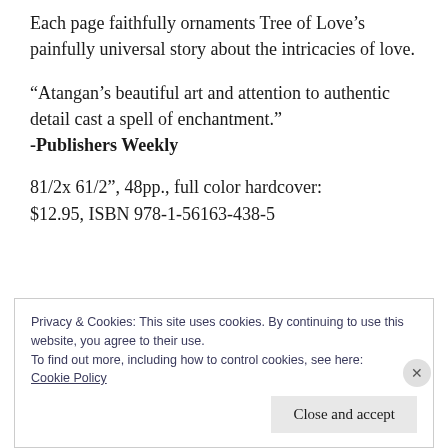Each page faithfully ornaments Tree of Love's painfully universal story about the intricacies of love.
“Atangan’s beautiful art and attention to authentic detail cast a spell of enchantment.” -Publishers Weekly
81/2x 61/2”, 48pp., full color hardcover: $12.95, ISBN 978-1-56163-438-5
Privacy & Cookies: This site uses cookies. By continuing to use this website, you agree to their use.
To find out more, including how to control cookies, see here:
Cookie Policy
Close and accept